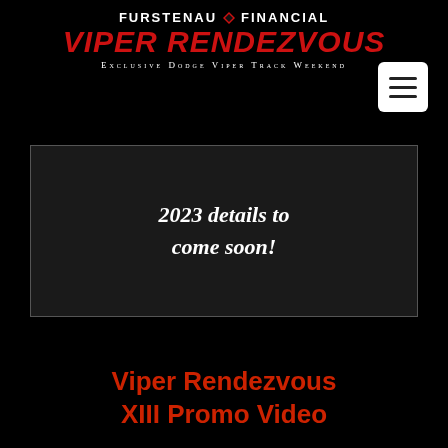Furstenau Financial VIPER RENDEZVOUS
Exclusive Dodge Viper Track Weekend
[Figure (other): Hamburger menu button icon (three horizontal lines) in white rounded square]
2023 details to come soon!
Viper Rendezvous XIII Promo Video